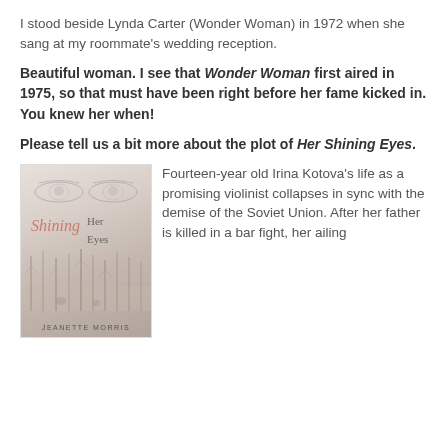I stood beside Lynda Carter (Wonder Woman) in 1972 when she sang at my roommate's wedding reception.
Beautiful woman. I see that Wonder Woman first aired in 1975, so that must have been right before her fame kicked in. You knew her when!
Please tell us a bit more about the plot of Her Shining Eyes.
[Figure (illustration): Book cover of 'Her Shining Eyes' by Jeanette Morris. Cover shows sketched eyes at top, cursive and serif title text in the middle, and a forest/trees scene at the bottom. Pale pinkish-grey tones throughout.]
Fourteen-year old Irina Kotova's life as a promising violinist collapses in sync with the demise of the Soviet Union. After her father is killed in a bar fight, her ailing